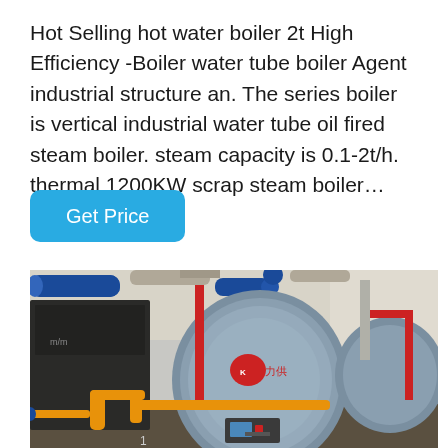Hot Selling hot water boiler 2t High Efficiency -Boiler water tube boiler Agent industrial structure an. The series boiler is vertical industrial water tube oil fired steam boiler. steam capacity is 0.1-2t/h. thermal 1200KW scrap steam boiler…
[Figure (other): A button with rounded corners and cyan/blue background labeled 'Get Price']
[Figure (photo): Industrial boiler room showing multiple horizontal fire-tube/water-tube boilers (steam boilers) with blue cylindrical pipes overhead, orange/yellow gas supply pipes, red vertical pipes, and boiler burner units in an industrial facility. Boilers have a Chinese brand logo on the front circular face.]